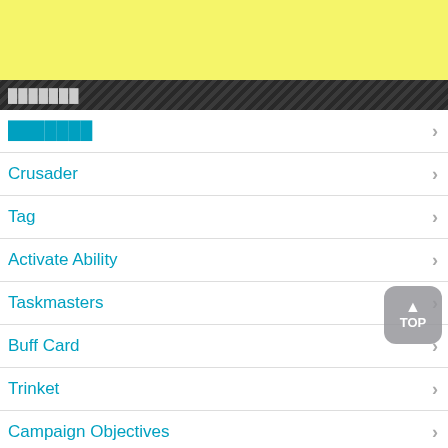[Figure (other): Yellow advertisement banner at the top of the page]
███████
███████
Crusader
Tag
Activate Ability
Taskmasters
Buff Card
Trinket
Campaign Objectives
Event Campaign Objectives
Talents
Craft Items